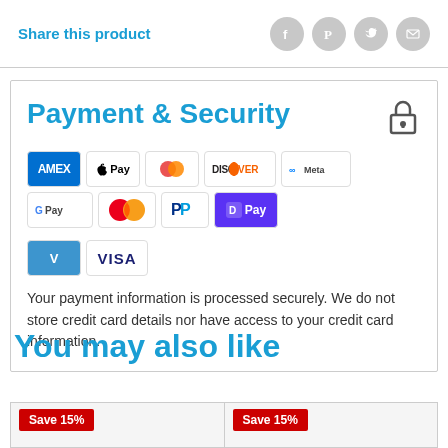Share this product
[Figure (other): Social share icons: Facebook, Pinterest, Twitter, Email — grey circles]
Payment & Security
[Figure (other): Payment method logos: AMEX, Apple Pay, Diners Club, Discover, Meta Pay, Google Pay, Mastercard, PayPal, D Pay, Venmo, Visa]
Your payment information is processed securely. We do not store credit card details nor have access to your credit card information.
You may also like
[Figure (other): Save 15% badge — red label on product card thumbnail (left)]
[Figure (other): Save 15% badge — red label on product card thumbnail (right)]